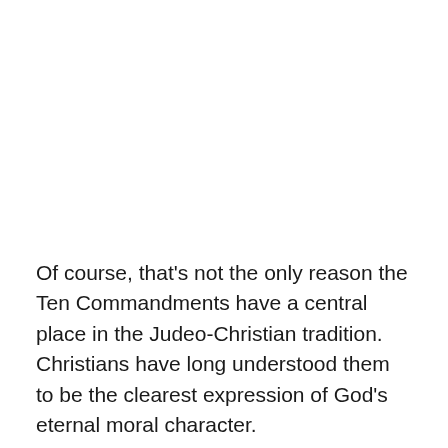Of course, that's not the only reason the Ten Commandments have a central place in the Judeo-Christian tradition. Christians have long understood them to be the clearest expression of God's eternal moral character.
Not to mention, they played an instrumental role in shaping Western civilization, including forming the foundation of our legal system and our understanding